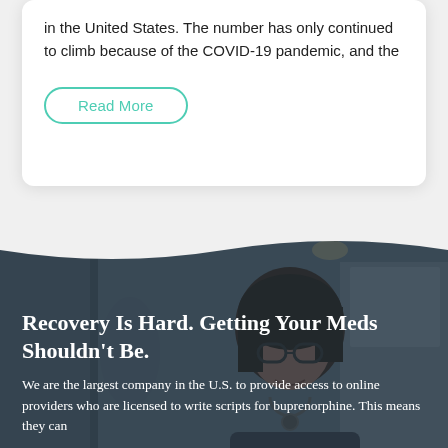in the United States. The number has only continued to climb because of the COVID-19 pandemic, and the
Read More
[Figure (photo): A smiling woman wearing glasses and a stethoscope, appearing to be a healthcare professional, photographed in an indoor clinical or home setting with a dark overlay.]
Recovery Is Hard. Getting Your Meds Shouldn't Be.
We are the largest company in the U.S. to provide access to online providers who are licensed to write scripts for buprenorphine. This means they can